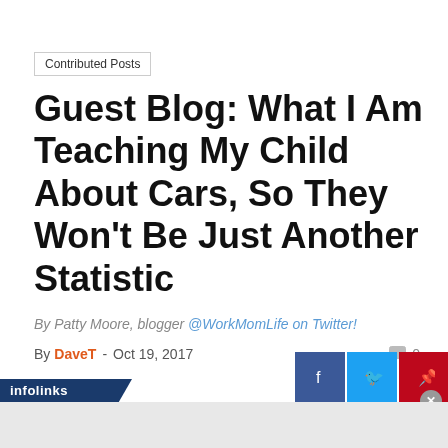Contributed Posts
Guest Blog: What I Am Teaching My Child About Cars, So They Won't Be Just Another Statistic
By Patty Moore, blogger @WorkMomLife on Twitter!
By DaveT - Oct 19, 2017   0
[Figure (infographic): Social share bar with infolinks branding and Facebook, Twitter, Pinterest, WhatsApp share buttons. A close button is visible on the right.]